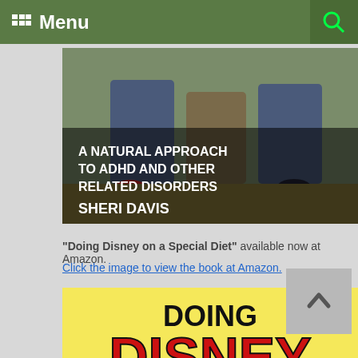Menu
[Figure (photo): Book cover: 'A Natural Approach to ADHD and Other Related Disorders' by Sheri Davis, showing children sitting on steps]
"Doing Disney on a Special Diet" available now at Amazon.
Click the image to view the book at Amazon.
[Figure (photo): Book cover: 'Doing Disney on a Special Diet' - yellow background with large DISNEY text in red, Mickey Mouse silhouette, subtitle 'All Natural Mom's Guide To Avoiding Dyes']